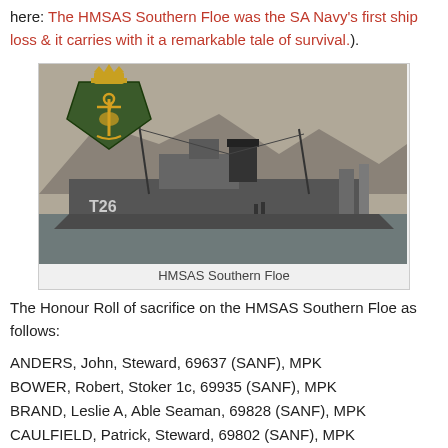here: The HMSAS Southern Floe was the SA Navy's first ship loss & it carries with it a remarkable tale of survival.).
[Figure (photo): Black and white photograph of the HMSAS Southern Floe ship docked in harbor, with a naval crest/badge overlaid in the upper left corner showing a golden anchor and unicorn on a dark green shield with crown above. The ship has the number T26 visible on its hull.]
HMSAS Southern Floe
The Honour Roll of sacrifice on the HMSAS Southern Floe as follows:
ANDERS, John, Steward, 69637 (SANF), MPK
BOWER, Robert, Stoker 1c, 69935 (SANF), MPK
BRAND, Leslie A, Able Seaman, 69828 (SANF), MPK
CAULFIELD, Patrick, Steward, 69802 (SANF), MPK